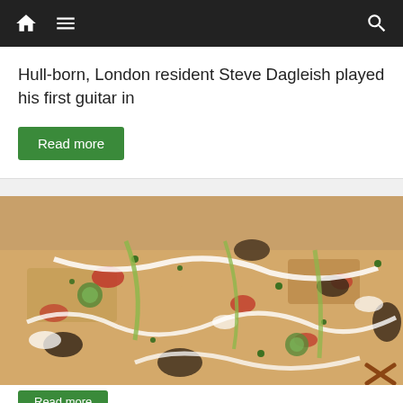Navigation bar with home, menu, and search icons
Hull-born, London resident Steve Dagleish played his first guitar in
Read more
[Figure (photo): Close-up photo of a flatbread pizza topped with vegetables including zucchini, red peppers, mushrooms, herbs, and white cream sauce drizzled on top]
Read more